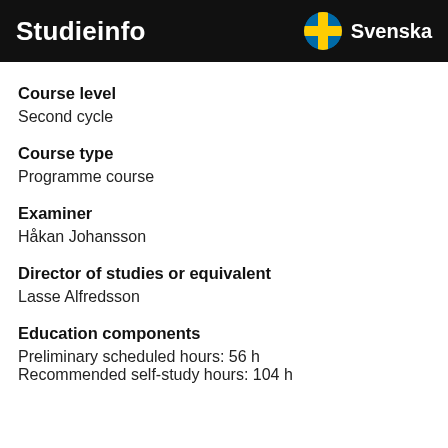Studieinfo  Svenska
Course level
Second cycle
Course type
Programme course
Examiner
Håkan Johansson
Director of studies or equivalent
Lasse Alfredsson
Education components
Preliminary scheduled hours: 56 h
Recommended self-study hours: 104 h